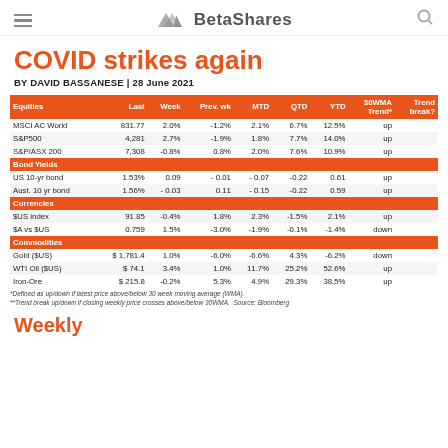BetaShares
COVID strikes again
BY DAVID BASSANESE | 28 June 2021
| Equities | Last | Week | Prev. wk | MTD | QTD | YTD | 30WMA Trend* | Trend break? |
| --- | --- | --- | --- | --- | --- | --- | --- | --- |
| MSCI AC World | 831.77 | 2.0% | -1.2% | 2.1% | 6.7% | 12.5% | up |  |
| S&P500 | 4,281 | 2.7% | -1.9% | 1.8% | 7.7% | 14.0% | up |  |
| S&P/ASX 200 | 7,308 | -0.8% | 0.8% | 2.0% | 7.6% | 10.9% | up |  |
| Bond Yields |  |  |  |  |  |  |  |  |
| US 10-yr bond | 1.53% | 0.09 | - 0.01 | - 0.07 | -0.22 | 0.61 | up |  |
| Aust. 10 yr bond | 1.56% | - 0.03 | 0.11 | - 0.15 | -0.22 | 0.59 | up |  |
| Currencies |  |  |  |  |  |  |  |  |
| $US index | 91.85 | -0.4% | 1.8% | 2.3% | -1.5% | 2.1% | up |  |
| $A vs $US | 0.759 | 1.5% | -3.0% | -1.9% | -0.1% | -1.4% | down |  |
| Commodities |  |  |  |  |  |  |  |  |
| Gold ($US) | $ 1,781.4 | 1.0% | -6.0% | -6.6% | 4.3% | -6.2% | down |  |
| WTI Oil ($US) | $ 74.1 | 3.4% | 1.0% | 11.7% | 25.2% | 52.6% | up |  |
| Iron-Ore | $ 215.8 | -0.2% | 5.3% | 4.9% | 29.3% | 38.5% | up |  |
*Defined as up/down if latest price above/below 30 week moving average (WMA).
**Trend break up/down if closing weekly price crosses above/below 30WMA. Source: Bloomberg
Weekly review